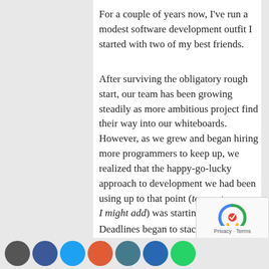For a couple of years now, I've run a modest software development outfit I started with two of my best friends.
After surviving the obligatory rough start, our team has been growing steadily as more ambitious project find their way into our whiteboards. However, as we grew and began hiring more programmers to keep up, we realized that the happy-go-lucky approach to development we had been using up to that point (to great success, I might add) was starting to fall short.
Deadlines began to stack up and get confusing, resources were being mismanaged, and delivery dates were suddenly an issue.
Even though we had solid communication, the fact that each of us was basically